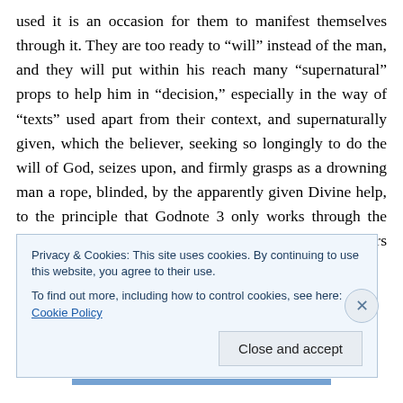used it is an occasion for them to manifest themselves through it. They are too ready to “will” instead of the man, and they will put within his reach many “supernatural” props to help him in “decision,” especially in the way of “texts” used apart from their context, and supernaturally given, which the believer, seeking so longingly to do the will of God, seizes upon, and firmly grasps as a drowning man a rope, blinded, by the apparently given Divine help, to the principle that Godnote 3 only works through the active volition of a man, and not for him in matters requiring his action.
Privacy & Cookies: This site uses cookies. By continuing to use this website, you agree to their use.
To find out more, including how to control cookies, see here: Cookie Policy